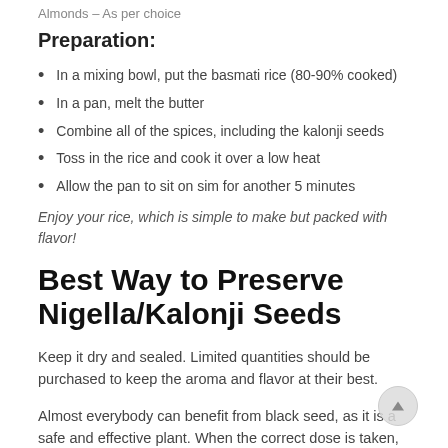Almonds – As per choice
Preparation:
In a mixing bowl, put the basmati rice (80-90% cooked)
In a pan, melt the butter
Combine all of the spices, including the kalonji seeds
Toss in the rice and cook it over a low heat
Allow the pan to sit on sim for another 5 minutes
Enjoy your rice, which is simple to make but packed with flavor!
Best Way to Preserve Nigella/Kalonji Seeds
Keep it dry and sealed. Limited quantities should be purchased to keep the aroma and flavor at their best.
Almost everybody can benefit from black seed, as it is a safe and effective plant. When the correct dose is taken, no irritations or adverse effects occur.